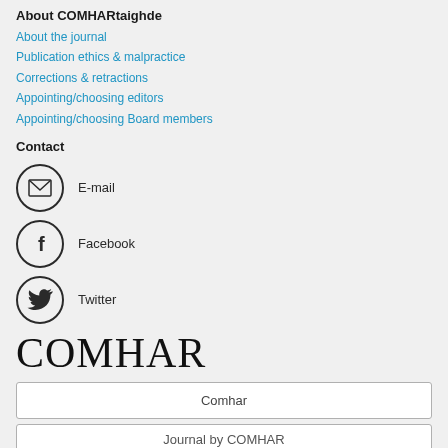About COMHARtaighde
About the journal
Publication ethics & malpractice
Corrections & retractions
Appointing/choosing editors
Appointing/choosing Board members
Contact
E-mail
Facebook
Twitter
COMHAR
Comhar
Journal by COMHAR